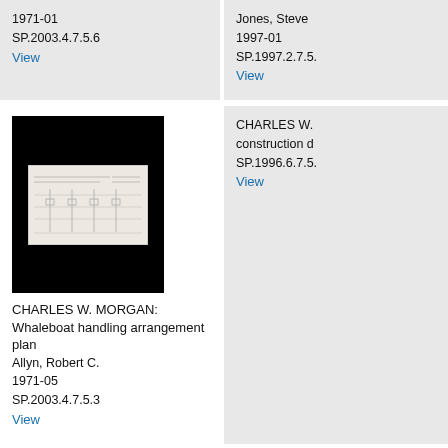1971-01
SP.2003.4.7.5.6
View
Jones, Steve
1997-01
SP.1997.2.7.5...
View
[Figure (photo): Black background with a small architectural or engineering line drawing sketch in center]
CHARLES W. MORGAN: Whaleboat handling arrangement plan
Allyn, Robert C.
1971-05
SP.2003.4.7.5.3
View
CHARLES W...
construction d...
SP.1996.6.7.5...
View
CHARLES W. MORGAN: Whaleship tryworks construction plan
CHARLES W...
construction...